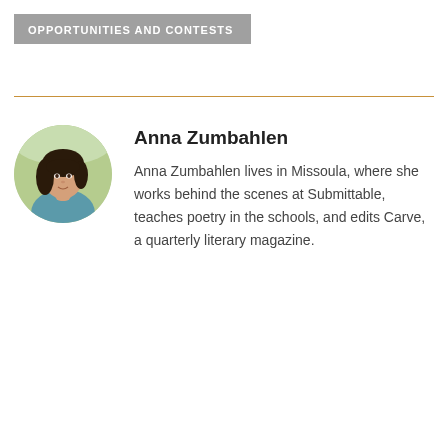OPPORTUNITIES AND CONTESTS
[Figure (photo): Circular portrait photo of Anna Zumbahlen, a woman with dark hair, outdoors with green background]
Anna Zumbahlen
Anna Zumbahlen lives in Missoula, where she works behind the scenes at Submittable, teaches poetry in the schools, and edits Carve, a quarterly literary magazine.